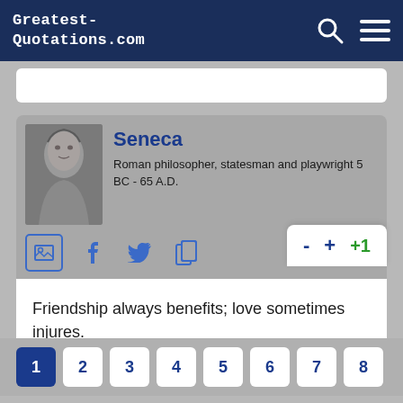Greatest-Quotations.com
[Figure (screenshot): Seneca bust portrait photo in grayscale]
Seneca
Roman philosopher, statesman and playwright 5 BC - 65 A.D.
Friendship always benefits; love sometimes injures.
1
2
3
4
5
6
7
8